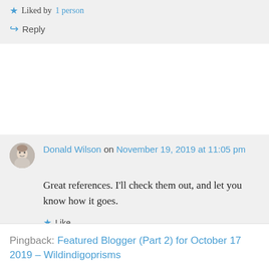Liked by 1 person
Reply
Donald Wilson on November 19, 2019 at 11:05 pm
Great references. I'll check them out, and let you know how it goes.
Like
Reply
Pingback: Featured Blogger (Part 2) for October 17 2019 – Wildindigoprisms